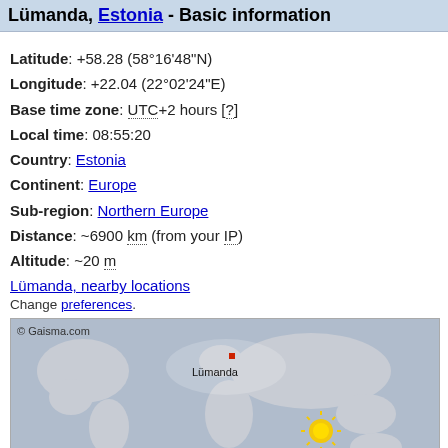Lümanda, Estonia - Basic information
Latitude: +58.28 (58°16'48"N)
Longitude: +22.04 (22°02'24"E)
Base time zone: UTC+2 hours [?]
Local time: 08:55:20
Country: Estonia
Continent: Europe
Sub-region: Northern Europe
Distance: ~6900 km (from your IP)
Altitude: ~20 m
Lümanda, nearby locations
Change preferences.
[Figure (map): World map with Lümanda location marked with a red square in Northern Europe (Estonia), and a sun icon over South/Southeast Asia. Copyright Gaisma.com.]